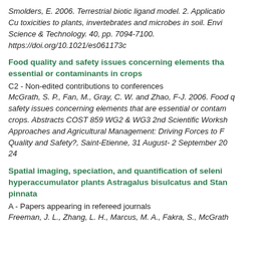Smolders, E. 2006. Terrestrial biotic ligand model. 2. Application to Cu toxicities to plants, invertebrates and microbes in soil. Environmental Science & Technology. 40, pp. 7094-7100. https://doi.org/10.1021/es061173c
Food quality and safety issues concerning elements that are essential or contaminants in crops
C2 - Non-edited contributions to conferences
McGrath, S. P., Fan, M., Gray, C. W. and Zhao, F-J. 2006. Food quality and safety issues concerning elements that are essential or contaminants in crops. Abstracts COST 859 WG2 & WG3 2nd Scientific Workshop: Approaches and Agricultural Management: Driving Forces to Food Quality and Safety?, Saint-Etienne, 31 August- 2 September 2006. p. 24
Spatial imaging, speciation, and quantification of selenium in hyperaccumulator plants Astragalus bisulcatus and Stanleya pinnata
A - Papers appearing in refereed journals
Freeman, J. L., Zhang, L. H., Marcus, M. A., Fakra, S., McGrath...